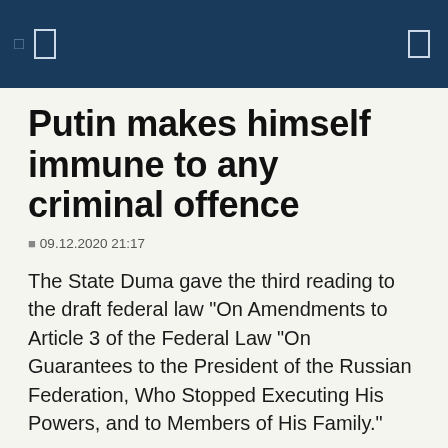Putin makes himself immune to any criminal offence
09.12.2020 21:17
The State Duma gave the third reading to the draft federal law "On Amendments to Article 3 of the Federal Law "On Guarantees to the President of the Russian Federation, Who Stopped Executing His Powers, and to Members of His Family."
New Article 92.1 of the Constitution establishes that the President of the